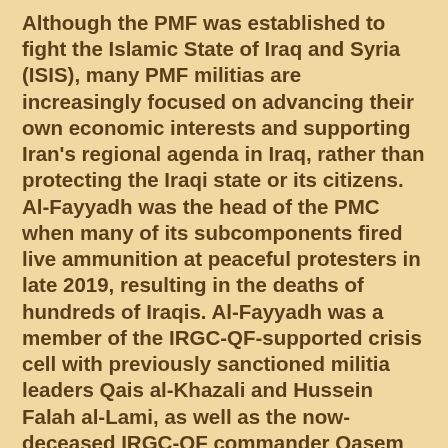Although the PMF was established to fight the Islamic State of Iraq and Syria (ISIS), many PMF militias are increasingly focused on advancing their own economic interests and supporting Iran's regional agenda in Iraq, rather than protecting the Iraqi state or its citizens. Al-Fayyadh was the head of the PMC when many of its subcomponents fired live ammunition at peaceful protesters in late 2019, resulting in the deaths of hundreds of Iraqis. Al-Fayyadh was a member of the IRGC-QF-supported crisis cell with previously sanctioned militia leaders Qais al-Khazali and Hussein Falah al-Lami, as well as the now-deceased IRGC-QF commander Qasem Soleimani and PMC deputy leader Abu Mahdi al-Muhandis. Until July 2020, Al-Fayyadh was also the Iraqi Prime Minister's National Security Advisor.
Al-Fayyadh is being designated pursuant to E.O. 13818 for being a foreign person who is or has been a leader or official of an entity, including...